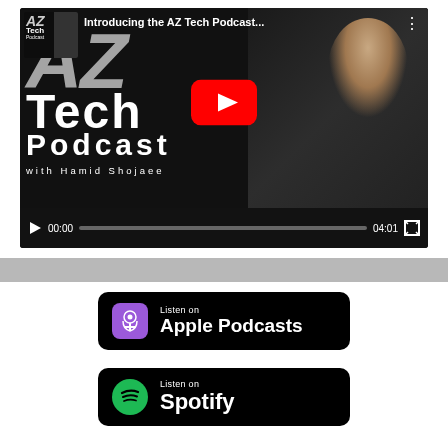[Figure (screenshot): YouTube video player showing 'Introducing the AZ Tech Podcast' with the AZ Tech Podcast branding (large AZ letters, Tech, Podcast text), a smiling man in a dark zip-up jacket on the right, YouTube play button overlay in center, video controls at bottom showing 00:00 / 04:01, and a small podcast logo thumbnail in top-left corner.]
[Figure (logo): Listen on Apple Podcasts badge - black rounded rectangle with purple podcast icon on left and 'Listen on Apple Podcasts' text on right.]
[Figure (logo): Listen on Spotify badge - black rounded rectangle with green Spotify icon on left and 'Listen on Spotify' text on right.]